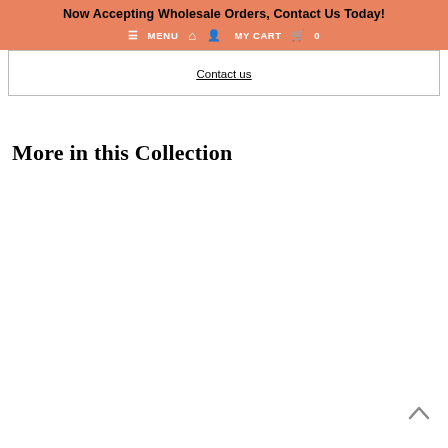Now Accepting Wholesale Orders, Contact Us Today!
≡ MENU  ⌂  👤  MY CART  🛒  0
Contact us
More in this Collection